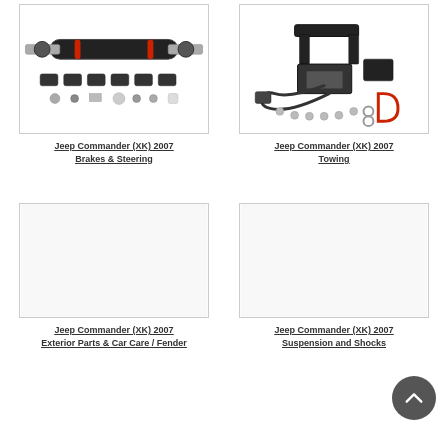[Figure (photo): Jeep Commander steering stabilizer kit with black cylindrical damper and various hardware pieces]
Jeep Commander (XK) 2007
Brakes & Steering
[Figure (photo): Jeep Commander towing kit with bracket, wiring harness, bolts and hardware]
Jeep Commander (XK) 2007
Towing
[Figure (photo): Blank/empty product image for Exterior Parts & Car Care / Fender category]
Jeep Commander (XK) 2007
Exterior Parts & Car Care / Fender
[Figure (photo): Blank/empty product image for Suspension and Shocks category]
Jeep Commander (XK) 2007
Suspension and Shocks